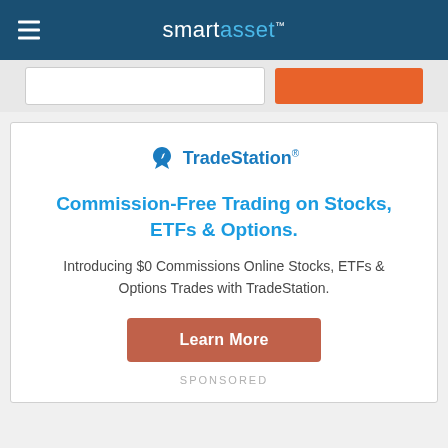smartasset
[Figure (screenshot): SmartAsset website header with hamburger menu icon on left and SmartAsset logo centered on dark blue background, with a search bar strip below containing an input box and an orange button]
[Figure (infographic): TradeStation advertisement card with logo, headline 'Commission-Free Trading on Stocks, ETFs & Options.', body text about $0 commissions, a Learn More button, and SPONSORED label]
Commission-Free Trading on Stocks, ETFs & Options.
Introducing $0 Commissions Online Stocks, ETFs & Options Trades with TradeStation.
Learn More
SPONSORED